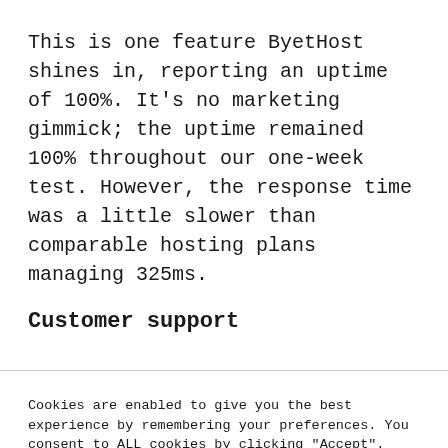This is one feature ByetHost shines in, reporting an uptime of 100%. It's no marketing gimmick; the uptime remained 100% throughout our one-week test. However, the response time was a little slower than comparable hosting plans managing 325ms.
Customer support
Cookies are enabled to give you the best experience by remembering your preferences. You consent to ALL cookies by clicking "Accept".